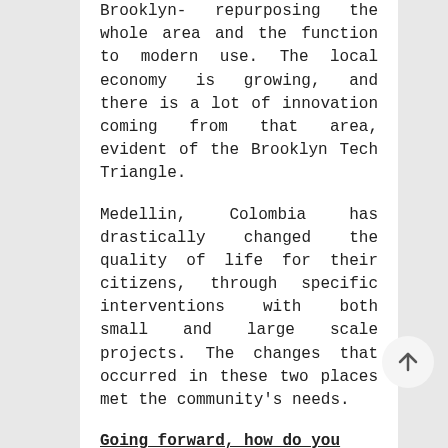Brooklyn- repurposing the whole area and the function to modern use. The local economy is growing, and there is a lot of innovation coming from that area, evident of the Brooklyn Tech Triangle.
Medellin, Colombia has drastically changed the quality of life for their citizens, through specific interventions with both small and large scale projects. The changes that occurred in these two places met the community’s needs.
Going forward, how do you plan to implement your research?
My research aligns with the kind of career I see myself having, which Is